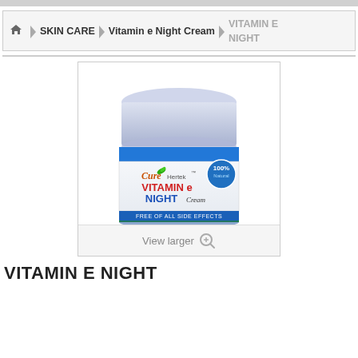Home > SKIN CARE > Vitamin e Night Cream > VITAMIN E NIGHT
[Figure (photo): A round jar of Cure Hertek Vitamin E Night Cream with a translucent blue-white lid, blue label band, white product label showing 'VITAMIN e NIGHT Cream' in red/blue text, '100% Natural' badge, 'FREE OF ALL SIDE EFFECTS' tagline. Below is a 'View larger' button with magnifying glass icon.]
VITAMIN E NIGHT